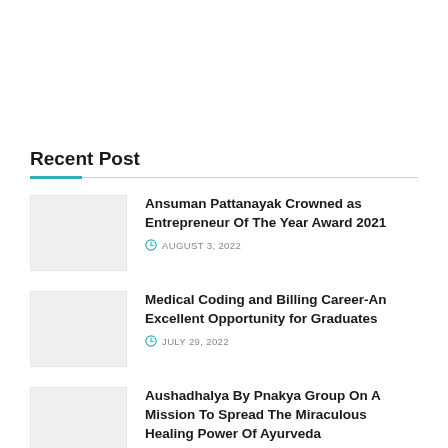Recent Post
Ansuman Pattanayak Crowned as Entrepreneur Of The Year Award 2021 | AUGUST 3, 2022
Medical Coding and Billing Career-An Excellent Opportunity for Graduates | JULY 29, 2022
Aushadhalya By Pnakya Group On A Mission To Spread The Miraculous Healing Power Of Ayurveda | JULY 28, 2022